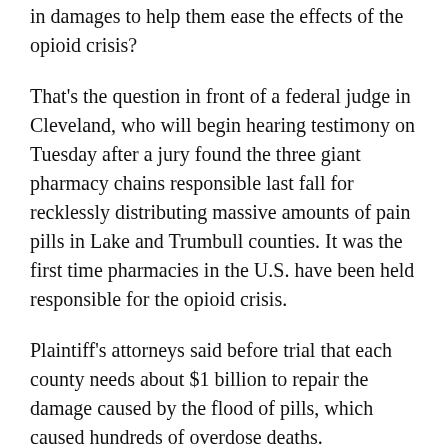in damages to help them ease the effects of the opioid crisis?
That's the question in front of a federal judge in Cleveland, who will begin hearing testimony on Tuesday after a jury found the three giant pharmacy chains responsible last fall for recklessly distributing massive amounts of pain pills in Lake and Trumbull counties. It was the first time pharmacies in the U.S. have been held responsible for the opioid crisis.
Plaintiff's attorneys said before trial that each county needs about $1 billion to repair the damage caused by the flood of pills, which caused hundreds of overdose deaths.
Around 80 million prescription painkillers were dispensed in Trumbull County between 2012 and 2016 — 400 for every county resident — while 61 million pills were dispensed in Lake County during that five-year period —